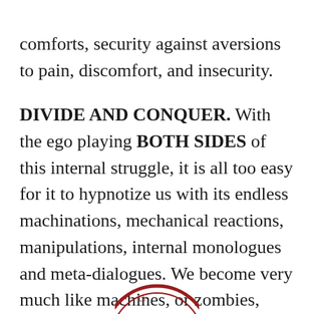comforts, security against aversions to pain, discomfort, and insecurity.
DIVIDE AND CONQUER. With the ego playing BOTH SIDES of this internal struggle, it is all too easy for it to hypnotize us with its endless machinations, mechanical reactions, manipulations, internal monologues and meta-dialogues. We become very much like machines, or zombies, acting out programs in the mind written, rewritten, and overwritten by egos.
[Figure (logo): Partial red circular logo or emblem visible at bottom center of page, cropped]